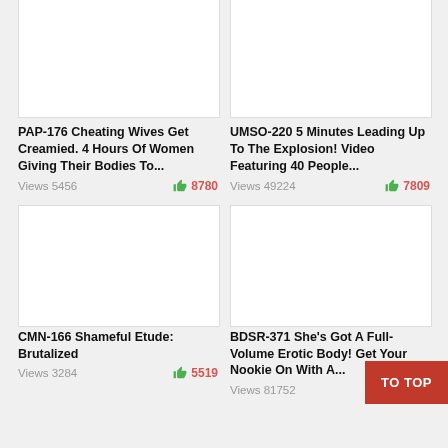[Figure (screenshot): Video thumbnail placeholder - white rectangle, top-left card]
PAP-176 Cheating Wives Get Creamied. 4 Hours Of Women Giving Their Bodies To...
Views 5456   8780
[Figure (screenshot): Video thumbnail placeholder - white rectangle, top-right card]
UMSO-220 5 Minutes Leading Up To The Explosion! Video Featuring 40 People...
Views 49224   7809
[Figure (screenshot): Video thumbnail placeholder - white rectangle, bottom-left card]
CMN-166 Shameful Etude: Brutalized
Views 3284   5519
[Figure (screenshot): Video thumbnail placeholder - white rectangle, bottom-right card]
BDSR-371 She's Got A Full-Volume Erotic Body! Get Your Nookie On With A...
Views 81752   6626
TO TOP